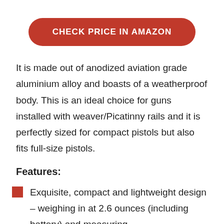[Figure (other): Red rounded rectangle button with white text reading CHECK PRICE IN AMAZON]
It is made out of anodized aviation grade aluminium alloy and boasts of a weatherproof body. This is an ideal choice for guns installed with weaver/Picatinny rails and it is perfectly sized for compact pistols but also fits full-size pistols.
Features:
Exquisite, compact and lightweight design – weighing in at 2.6 ounces (including battery) and measuring